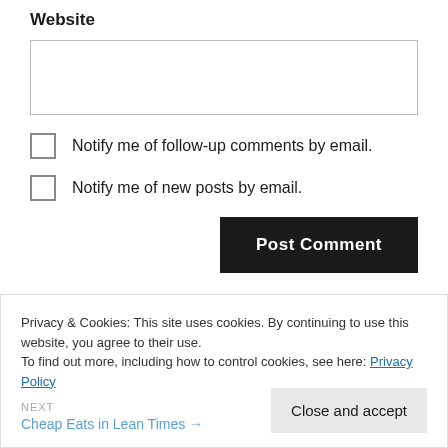Website
Notify me of follow-up comments by email.
Notify me of new posts by email.
Post Comment
Privacy & Cookies: This site uses cookies. By continuing to use this website, you agree to their use.
To find out more, including how to control cookies, see here: Privacy Policy
NEXT
Cheap Eats in Lean Times →
Close and accept